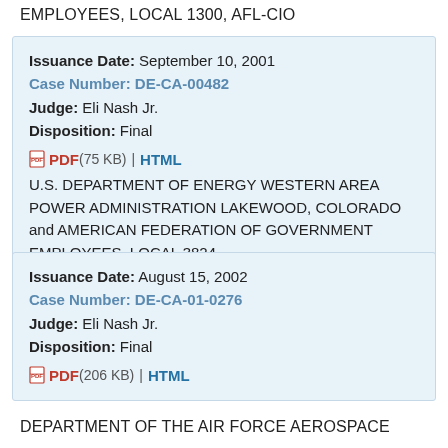EMPLOYEES, LOCAL 1300, AFL-CIO
Issuance Date: September 10, 2001
Case Number: DE-CA-00482
Judge: Eli Nash Jr.
Disposition: Final
PDF (75 KB) | HTML
U.S. DEPARTMENT OF ENERGY WESTERN AREA POWER ADMINISTRATION LAKEWOOD, COLORADO and AMERICAN FEDERATION OF GOVERNMENT EMPLOYEES, LOCAL 3824
Issuance Date: August 15, 2002
Case Number: DE-CA-01-0276
Judge: Eli Nash Jr.
Disposition: Final
PDF (206 KB) | HTML
DEPARTMENT OF THE AIR FORCE AEROSPACE